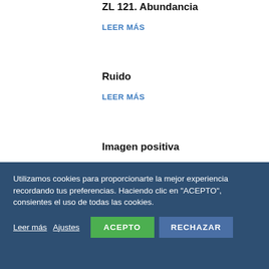ZL 121. Abundancia
LEER MÁS
Ruido
LEER MÁS
Imagen positiva
LEER MÁS
Utilizamos cookies para proporcionarte la mejor experiencia recordando tus preferencias. Haciendo clic en "ACEPTO", consientes el uso de todas las cookies.
Leer más Ajustes ACEPTO RECHAZAR